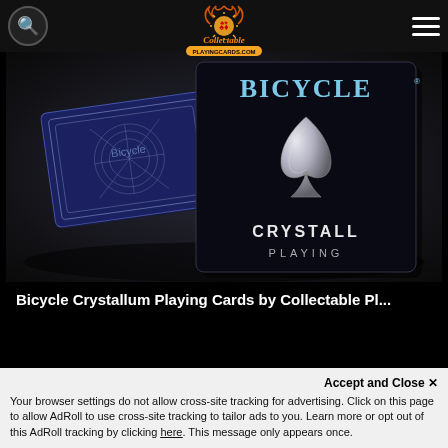[Figure (logo): CollectablePlayingCards.com logo with flame design and playing card suits]
[Figure (photo): Bicycle Crystallum Playing Cards - dark navy/black card deck with silver ornate spade design on box cover, showing both the card back and front box face]
Bicycle Crystallum Playing Cards by Collectable Pl...
Accept and Close ✕
Your browser settings do not allow cross-site tracking for advertising. Click on this page to allow AdRoll to use cross-site tracking to tailor ads to you. Learn more or opt out of this AdRoll tracking by clicking here. This message only appears once.